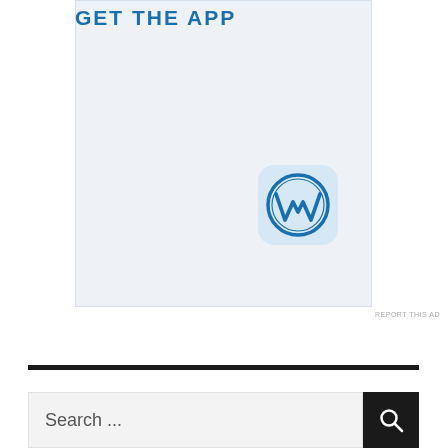[Figure (illustration): WordPress app advertisement banner with light blue background showing 'GET THE APP' heading and WordPress logo icon (W in circle on rounded square app icon)]
REPORT THIS AD
Search ...